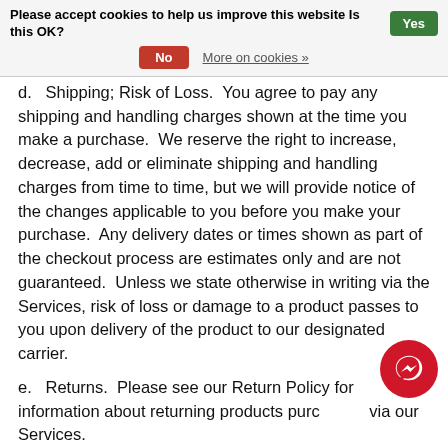Please accept cookies to help us improve this website Is this OK? Yes No More on cookies »
d.   Shipping; Risk of Loss.  You agree to pay any shipping and handling charges shown at the time you make a purchase.  We reserve the right to increase, decrease, add or eliminate shipping and handling charges from time to time, but we will provide notice of the changes applicable to you before you make your purchase.  Any delivery dates or times shown as part of the checkout process are estimates only and are not guaranteed.  Unless we state otherwise in writing via the Services, risk of loss or damage to a product passes to you upon delivery of the product to our designated carrier.
e.   Returns.  Please see our Return Policy for information about returning products purchased via our Services.
f.   Errors.  In the event of an error, we reserve the